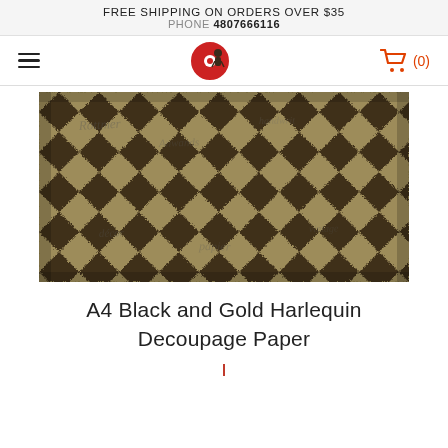FREE SHIPPING ON ORDERS OVER $35
PHONE 4807666116
[Figure (photo): A4 Black and Gold Harlequin Decoupage Paper product image showing a vintage-style black and gold diamond/harlequin pattern]
A4 Black and Gold Harlequin Decoupage Paper